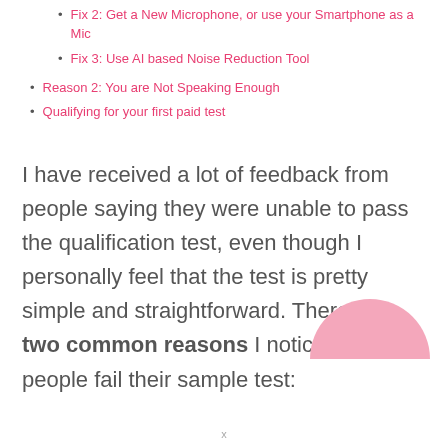Fix 2: Get a New Microphone, or use your Smartphone as a Mic
Fix 3: Use AI based Noise Reduction Tool
Reason 2: You are Not Speaking Enough
Qualifying for your first paid test
I have received a lot of feedback from people saying they were unable to pass the qualification test, even though I personally feel that the test is pretty simple and straightforward. There are two common reasons I noticed why people fail their sample test:
[Figure (illustration): Pink semicircle decorative shape in the bottom right area of the page]
x